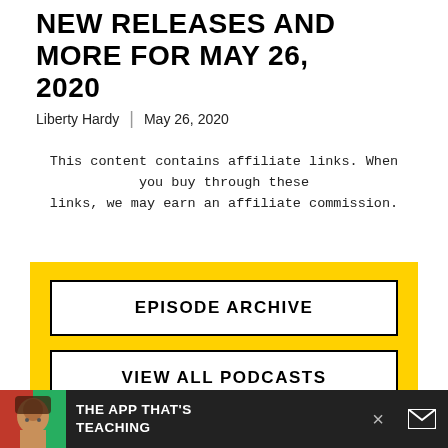NEW RELEASES AND MORE FOR MAY 26, 2020
Liberty Hardy  |  May 26, 2020
This content contains affiliate links. When you buy through these links, we may earn an affiliate commission.
EPISODE ARCHIVE
VIEW ALL PODCASTS
SUBSCRIBE
Apple Podcasts | Google Podcasts | Spotify |
[Figure (infographic): Bottom advertisement bar with photo, text 'THE APP THAT'S TEACHING', a close button (×), and an email icon on dark background]